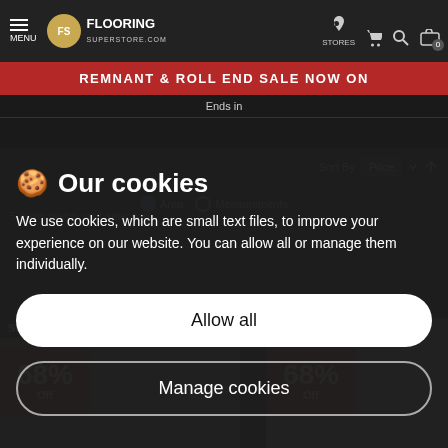MENU | FLOORING SUPERSTORE.COM | STORES | [icons]
REMNANT & ROLL END SALE NOW ON
Ends in
Our cookies
We use cookies, which are small text files, to improve your experience on our website. You can allow all or manage them individually.
Allow all
Manage cookies
5 items match your selection
Summer Sale 68% Off
Summer Sale 68% Off